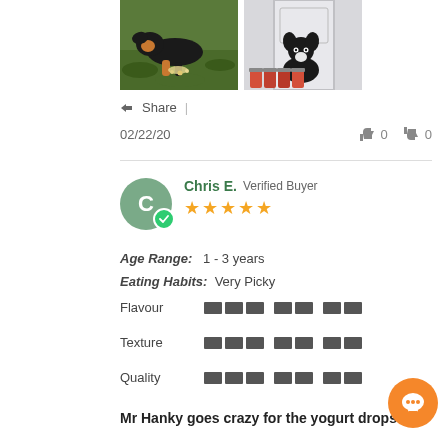[Figure (photo): Two dog photos side by side: left shows a black and tan dog eating on grass, right shows a black and white dog sitting by door with product jars]
Share  |
02/22/20   👍 0   👎 0
Chris E.  Verified Buyer  ★★★★★
Age Range:  1 - 3 years
Eating Habits:  Very Picky
Flavour
Texture
Quality
Mr Hanky goes crazy for the yogurt drops!